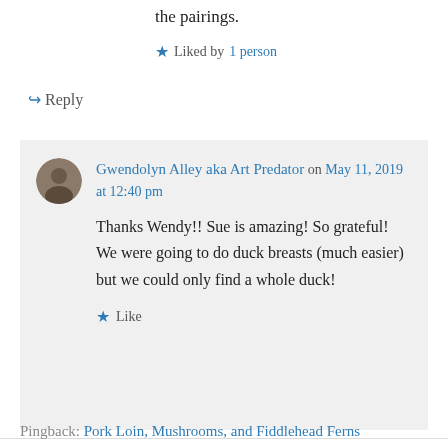the pairings.
★ Liked by 1 person
↪ Reply
Gwendolyn Alley aka Art Predator on May 11, 2019 at 12:40 pm
Thanks Wendy!! Sue is amazing! So grateful! We were going to do duck breasts (much easier) but we could only find a whole duck!
★ Like
Pingback: Pork Loin, Mushrooms, and Fiddlehead Ferns